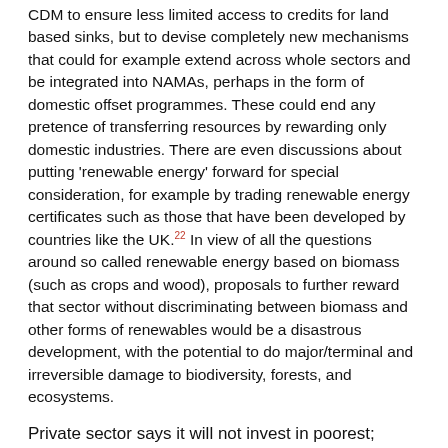CDM to ensure less limited access to credits for land based sinks, but to devise completely new mechanisms that could for example extend across whole sectors and be integrated into NAMAs, perhaps in the form of domestic offset programmes. These could end any pretence of transferring resources by rewarding only domestic industries. There are even discussions about putting 'renewable energy' forward for special consideration, for example by trading renewable energy certificates such as those that have been developed by countries like the UK.22 In view of all the questions around so called renewable energy based on biomass (such as crops and wood), proposals to further reward that sector without discriminating between biomass and other forms of renewables would be a disastrous development, with the potential to do major/terminal and irreversible damage to biodiversity, forests, and ecosystems.
Private sector says it will not invest in poorest; public money should do this
In this context it seems that the only tool that could...